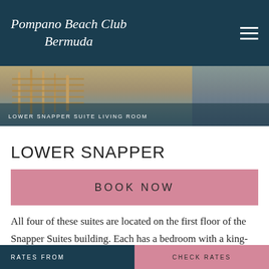Pompano Beach Club Bermuda
[Figure (photo): Interior photo of Lower Snapper Suite Living Room showing rattan furniture and wicker chairs with a semi-transparent dark overlay banner reading LOWER SNAPPER SUITE LIVING ROOM]
LOWER SNAPPER SUITE LIVING ROOM
LOWER SNAPPER
BOOK NOW
All four of these suites are located on the first floor of the Snapper Suites building. Each has a bedroom with a king-size bed and a separate living room with a sofa
RATES FROM    CHECK RATES